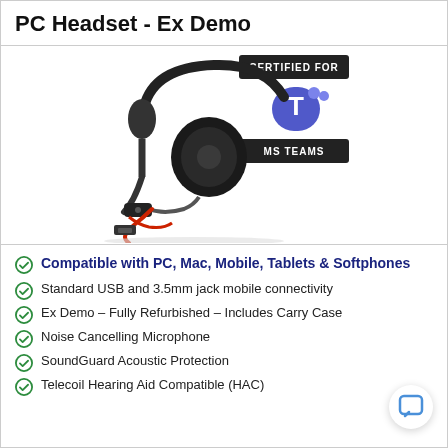PC Headset - Ex Demo
[Figure (photo): PC Headset with a 'Certified for MS Teams' badge overlay. Single-ear headset with USB cable shown against white background.]
Compatible with PC, Mac, Mobile, Tablets & Softphones
Standard USB and 3.5mm jack mobile connectivity
Ex Demo – Fully Refurbished – Includes Carry Case
Noise Cancelling Microphone
SoundGuard Acoustic Protection
Telecoil Hearing Aid Compatible (HAC)